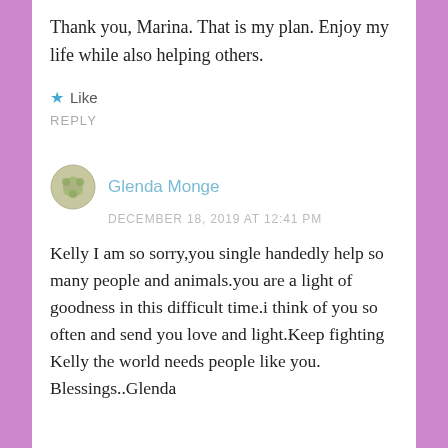Thank you, Marina. That is my plan. Enjoy my life while also helping others.
★ Like
REPLY
Glenda Monge
DECEMBER 18, 2019 AT 12:41 PM
Kelly I am so sorry,you single handedly help so many people and animals.you are a light of goodness in this difficult time.i think of you so often and send you love and light.Keep fighting Kelly the world needs people like you. Blessings..Glenda